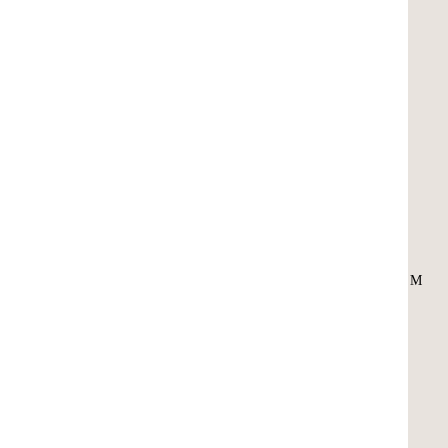allowed just two balls to leave in the infield in the game and had exactly two strikeouts in each of the seven innings.
The Hoosiers scored the game's first run in the bottom of the first inning when leadoff batter Breanna Saucedo stru... three. Ashley Warrum sacrificed Saucedo t... one out walk to give Morgan Melloh the c... before Melloh could even put the bat on th... catcher Liz Watkins to second base. But in... broke for third base and no one from the Io... and the ball rolled into center field to allow... without a play.
When the Hoosiers came up in the fourth i... the left field line. Kelsey Brannon came on... base on a wild pitch. Melloh then hit a gro...